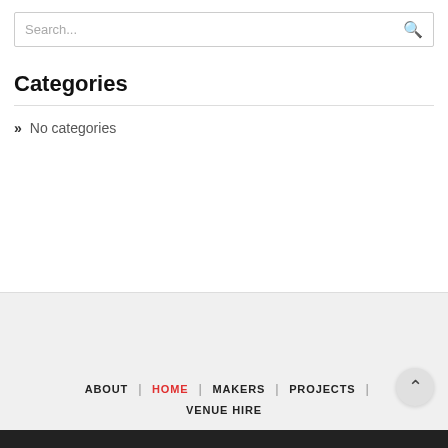Search...
Categories
» No categories
ABOUT | HOME | MAKERS | PROJECTS | VENUE HIRE